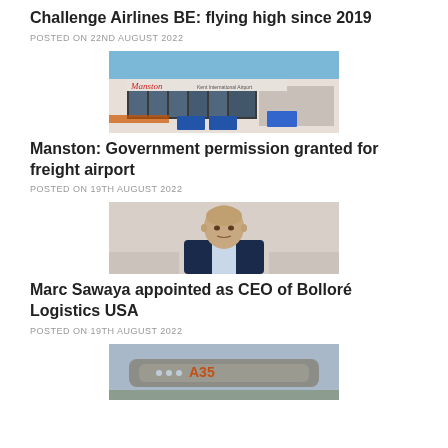Challenge Airlines BE: flying high since 2019
POSTED ON 22ND AUGUST 2022
[Figure (photo): Manston Kent International Airport exterior building photo]
Manston: Government permission granted for freight airport
POSTED ON 19TH AUGUST 2022
[Figure (photo): Portrait photo of Marc Sawaya, bald man in dark suit]
Marc Sawaya appointed as CEO of Bolloré Logistics USA
POSTED ON 19TH AUGUST 2022
[Figure (photo): Close-up photo of aircraft fuselage with A350 marking]